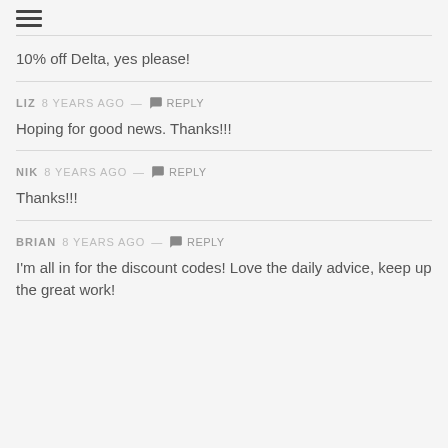≡
10% off Delta, yes please!
LIZ 8 years ago — Reply
Hoping for good news. Thanks!!!
NIK 8 years ago — Reply
Thanks!!!
BRIAN 8 years ago — Reply
I'm all in for the discount codes! Love the daily advice, keep up the great work!